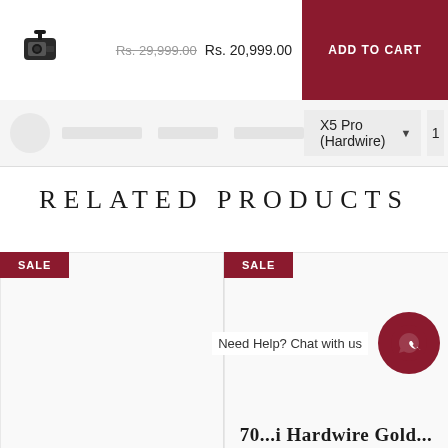[Figure (photo): Small product thumbnail image of a dash camera device in the sticky header bar]
Rs. 29,999.00 Rs. 20,999.00
ADD TO CART
X5 Pro (Hardwire)
RELATED PRODUCTS
SALE
SALE
Need Help? Chat with us
70...i Hardwire Gold...